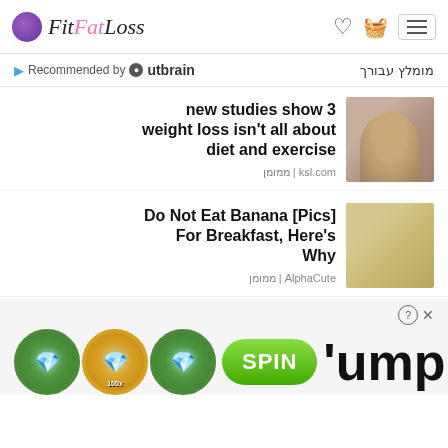FitFatLoss
Recommended by Outbrain | מומלץ עבורך
new studies show 3 weight loss isn't all about diet and exercise
ממומן | ksl.com
Do Not Eat Banana [Pics] For Breakfast, Here's Why
ממומן | AlphaCute
[Figure (infographic): Casino slot machine advertisement with diamond icons, SPIN button, and partial text 'ump']